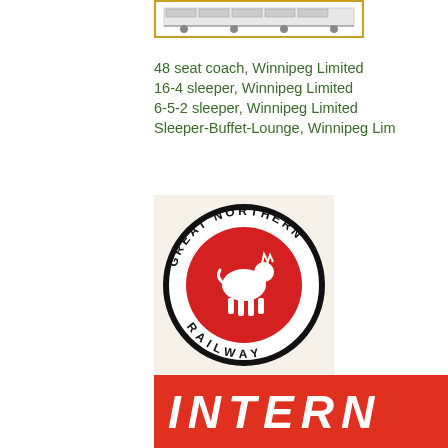[Figure (illustration): Small framed image of a train car, appears to be a technical or seating diagram]
48 seat coach, Winnipeg Limited
16-4 sleeper, Winnipeg Limited
6-5-2 sleeper, Winnipeg Limited
Sleeper-Buffet-Lounge, Winnipeg Lim...
[Figure (logo): Great Northern Railway circular logo with a mountain goat on a red circle and black border text reading GREAT NORTHERN RAILWAY]
[Figure (illustration): Red banner with large white italic bold text reading INTERN (cut off, full word INTERNATIONAL)]
Streamlined Internationals, depart dai... Wash., and Vancouver, B.C.  Modern, scenes to make your trip aboard the l... and immigration inspections are mad...